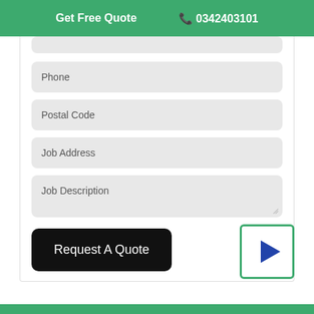Get Free Quote  📞 0342403101
Phone
Postal Code
Job Address
Job Description
Request A Quote